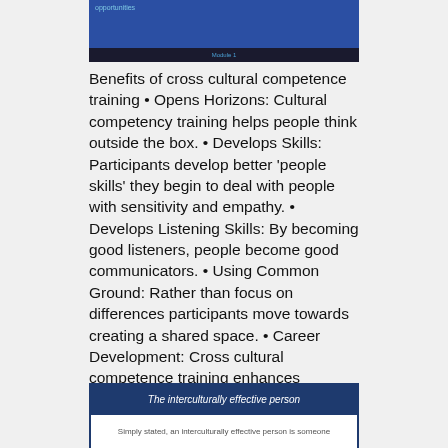[Figure (screenshot): Top portion of a blue slide with text 'opportunities' and a dark bar at bottom reading 'Module 1']
Benefits of cross cultural competence training • Opens Horizons: Cultural competency training helps people think outside the box. • Develops Skills: Participants develop better 'people skills' they begin to deal with people with sensitivity and empathy. • Develops Listening Skills: By becoming good listeners, people become good communicators. • Using Common Ground: Rather than focus on differences participants move towards creating a shared space. • Career Development: Cross cultural competence training enhances people's skills and therefore future employment opportunities. Module 1
[Figure (screenshot): Bottom card with dark blue header 'The interculturally effective person' and white body beginning 'Simply stated, an interculturally effective person is someone']